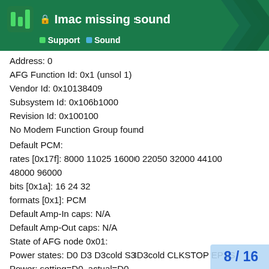Imac missing sound — Support | Sound
Address: 0
AFG Function Id: 0x1 (unsol 1)
Vendor Id: 0x10138409
Subsystem Id: 0x106b1000
Revision Id: 0x100100
No Modem Function Group found
Default PCM:
rates [0x17f]: 8000 11025 16000 22050 32000 44100 48000 96000
bits [0x1a]: 16 24 32
formats [0x1]: PCM
Default Amp-In caps: N/A
Default Amp-Out caps: N/A
State of AFG node 0x01:
Power states: D0 D3 D3cold S3D3cold CLKSTOP EPSS
Power: setting=D0, actual=D0
GPIO: io=8, o=0, i=0, unsolicited=1, wake=1
IO[0]: enable=0, dir=0, wake=0, sticky=0, unsol=0
8 / 16